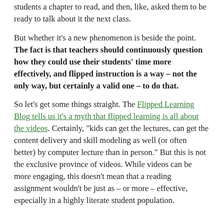students a chapter to read, and then, like, asked them to be ready to talk about it the next class.
But whether it's a new phenomenon is beside the point. The fact is that teachers should continuously question how they could use their students' time more effectively, and flipped instruction is a way – not the only way, but certainly a valid one – to do that.
So let's get some things straight. The Flipped Learning Blog tells us it's a myth that flipped learning is all about the videos. Certainly, "kids can get the lectures, can get the content delivery and skill modeling as well (or often better) by computer lecture than in person." But this is not the exclusive province of videos. While videos can be more engaging, this doesn't mean that a reading assignment wouldn't be just as – or more – effective, especially in a highly literate student population.